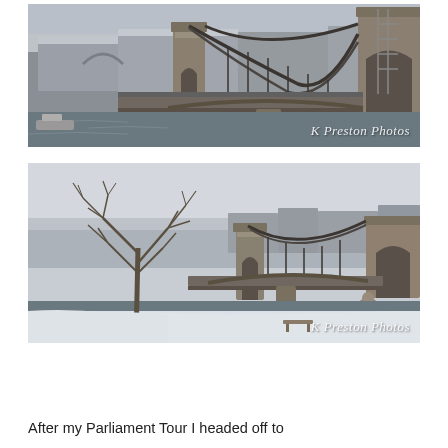[Figure (photo): Close-up photograph of a suspension bridge (Chain Bridge) in Budapest, Hungary in winter. Stone towers and chains visible, with the Danube river below and snow-covered Buda Castle hill in the background. Watermark reads 'K Preston Photos'.]
[Figure (photo): Wider photograph of the Chain Bridge in Budapest in winter/snow. A bare tree is prominent in the foreground left, bridge and lion statues visible, snowy riverbank below. Watermark reads 'K Preston Photos'.]
After my Parliament Tour I headed off to